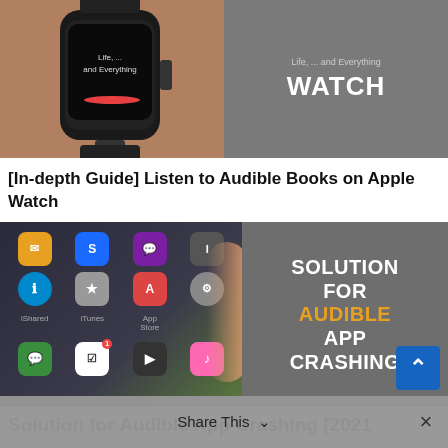[Figure (photo): Composite image: left half shows a person wearing an Apple Watch; right half shows gray background with white bold text 'WATCH' and smaller text above it.]
[In-depth Guide] Listen to Audible Books on Apple Watch
[Figure (photo): Composite image: left half shows a hand holding a smartphone displaying app icons; right half shows gray background with text 'SOLUTION FOR AUDIBLE APP CRASHING' where AUDIBLE is in orange.]
Solution for Audible App Crashing [2021
Share This
×